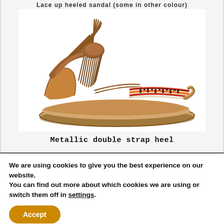Lace up heeled sandal (some in other colour)
[Figure (photo): A tan/brown suede sandal with colorful Aztec-patterned toe strap and fringe lace-up ankle wrap with tassels, flat sole.]
Metallic double strap heel
We are using cookies to give you the best experience on our website.
You can find out more about which cookies we are using or switch them off in settings.
Accept